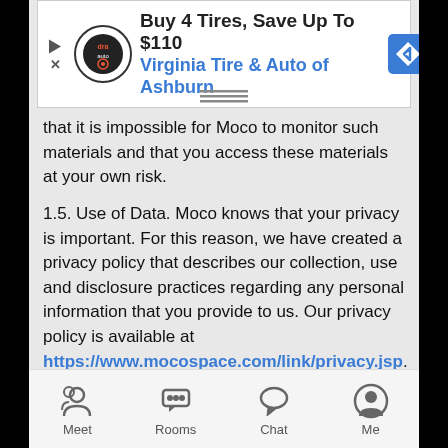[Figure (screenshot): Advertisement banner: 'Buy 4 Tires, Save Up To $110 Virginia Tire & Auto of Ashburn' with logo and road sign icon]
that it is impossible for Moco to monitor such materials and that you access these materials at your own risk.
1.5. Use of Data. Moco knows that your privacy is important. For this reason, we have created a privacy policy that describes our collection, use and disclosure practices regarding any personal information that you provide to us. Our privacy policy is available at https://www.mocospace.com/link/privacy.jsp.
2. Registration and Eligibility.
2.1. Registering as a Member. In order to access certain features of the Services, you may be required to become a Member. For purposes of the Terms, a "Member" is a user who has registered an account on the Website or the App ("Account"), has a valid social networking service ("SNS") through which the Member has connected to the Services (each such account, a "Third-Party Account"), or has an account with the provider of the App for the
[Figure (screenshot): Mobile app bottom navigation bar with Meet, Rooms, Chat, Me icons]